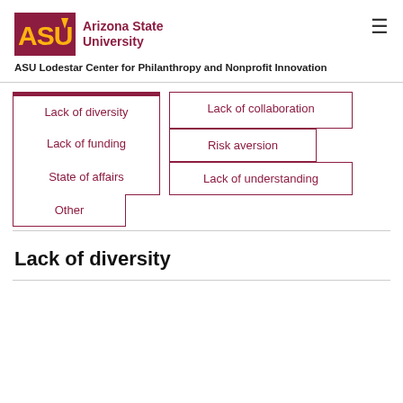ASU Arizona State University
ASU Lodestar Center for Philanthropy and Nonprofit Innovation
[Figure (other): Navigation tab menu with options: Lack of diversity (active), Lack of collaboration, Lack of funding, Risk aversion, State of affairs, Lack of understanding, Other]
Lack of diversity